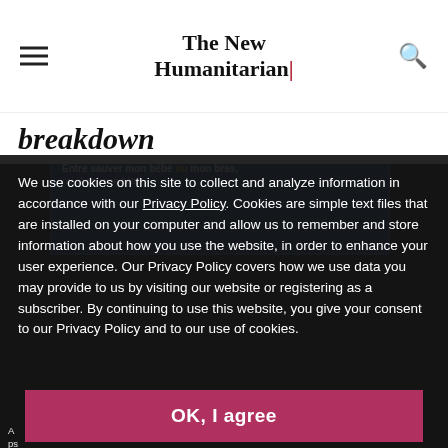The New Humanitarian
breakdown
[Figure (photo): A billboard with French text 'Entre sauver mon bébé ou mon bras, j'ai choisi mon bébé' on a blue background, partially visible person below, dark urban setting]
We use cookies on this site to collect and analyze information in accordance with our Privacy Policy. Cookies are simple text files that are installed on your computer and allow us to remember and store information about how you use the website, in order to enhance your user experience. Our Privacy Policy covers how we use data you may provide to us by visiting our website or registering as a subscriber. By continuing to use this website, you give your consent to our Privacy Policy and to our use of cookies.
OK, I agree
A ... for people ... the 2002 rebellion (Nancy Palus/IRIN)